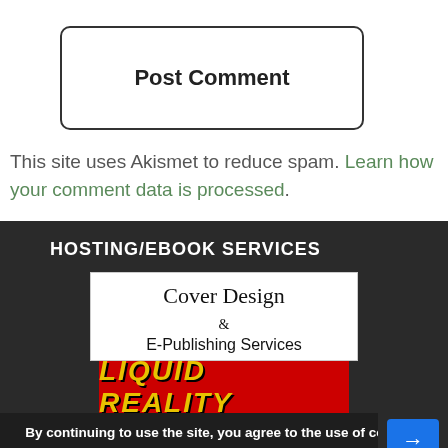Post Comment
This site uses Akismet to reduce spam. Learn how your comment data is processed.
HOSTING/EBOOK SERVICES
[Figure (illustration): Cover Design & E-Publishing Services logo with red car illustration below]
By continuing to use the site, you agree to the use of cookies. more information Accept